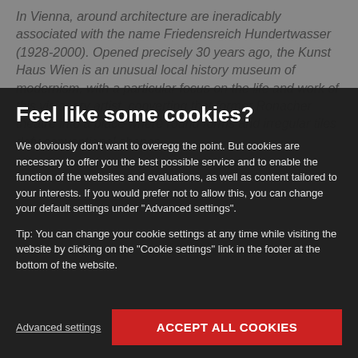In Vienna, around architecture are ineradicably associated with the name Friedensreich Hundertwasser (1928-2000). Opened precisely 30 years ago, the Kunst Haus Wien is an unusual local history museum of modernism, with a particular focus on the life and work of this visionary artist, converting that former Ronacher theatre into a place where round forms and irregular tiles defy conventional shapes...layered glass, metal, brick, wood and ceramic tile elements in a riot of colour. Decorative tile
Feel like some cookies?
We obviously don't want to overegg the point. But cookies are necessary to offer you the best possible service and to enable the function of the websites and evaluations, as well as content tailored to your interests. If you would prefer not to allow this, you can change your default settings under "Advanced settings".
Tip: You can change your cookie settings at any time while visiting the website by clicking on the "Cookie settings" link in the footer at the bottom of the website.
Advanced settings
ACCEPT ALL COOKIES